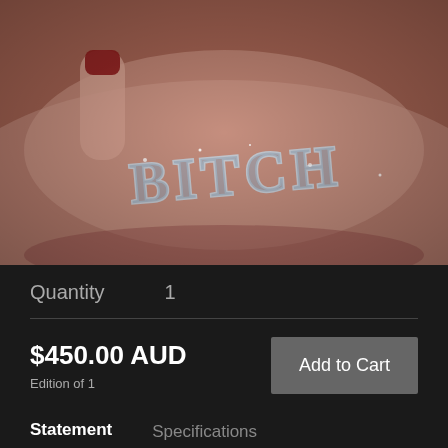[Figure (photo): Close-up photo of a hand holding a rhinestone/crystal hair clip or brooch spelling out 'BITCH' in silver letters, against a blurred background of lips.]
Quantity   1
$450.00 AUD
Edition of 1
Add to Cart
Statement
Specifications
Utilising the female gaze as a lens through which to view the